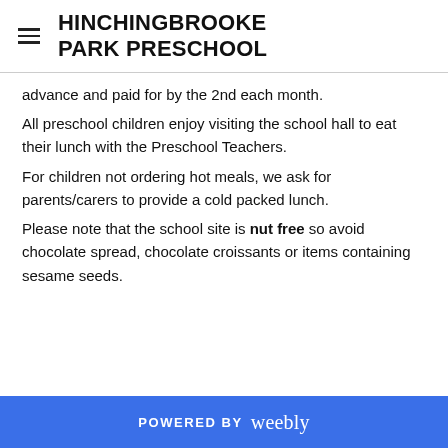HINCHINGBROOKE PARK PRESCHOOL
advance and paid for by the 2nd each month.
All preschool children enjoy visiting the school hall to eat their lunch with the Preschool Teachers.
For children not ordering hot meals, we ask for parents/carers to provide a cold packed lunch.
Please note that the school site is nut free so avoid chocolate spread, chocolate croissants or items containing sesame seeds.
POWERED BY weebly